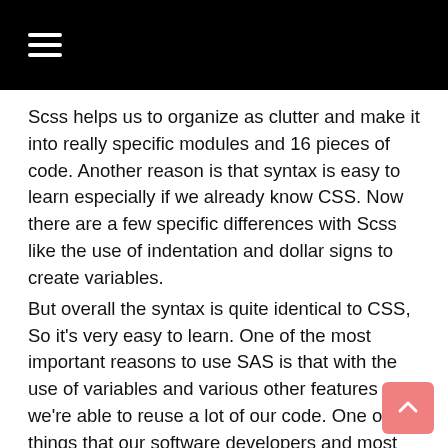☰
Scss helps us to organize as clutter and make it into really specific modules and 16 pieces of code. Another reason is that syntax is easy to learn especially if we already know CSS. Now there are a few specific differences with Scss like the use of indentation and dollar signs to create variables.
But overall the syntax is quite identical to CSS, So it's very easy to learn. One of the most important reasons to use SAS is that with the use of variables and various other features we're able to reuse a lot of our code. One of the things that our software developers and most are having to repeat themselves.
Scss is a preprocessor, It means simply a